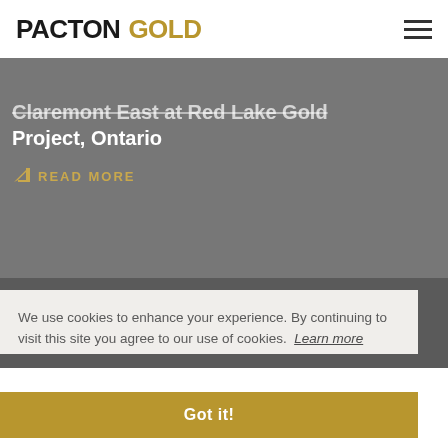PACTON GOLD
Claremont East at Red Lake Gold Project, Ontario
READ MORE
We use cookies to enhance your experience. By continuing to visit this site you agree to our use of cookies. Learn more
Got it!